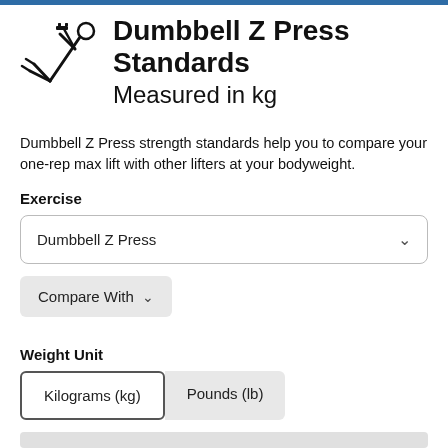Dumbbell Z Press Standards Measured in kg
Dumbbell Z Press strength standards help you to compare your one-rep max lift with other lifters at your bodyweight.
Exercise
Dumbbell Z Press
Compare With
Weight Unit
Kilograms (kg)  Pounds (lb)